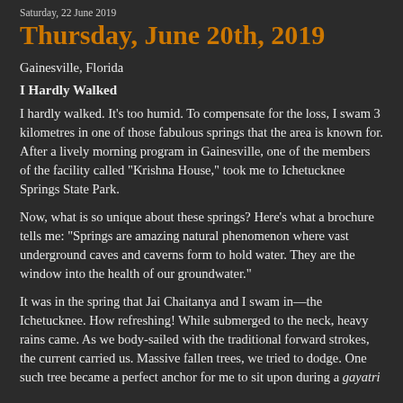Saturday, 22 June 2019
Thursday, June 20th, 2019
Gainesville, Florida
I Hardly Walked
I hardly walked.  It's too humid.  To compensate for the loss, I swam 3 kilometres in one of those fabulous springs that the area is known for.  After a lively morning program in Gainesville, one of the members of the facility called "Krishna House," took me to Ichetucknee Springs State Park.
Now, what is so unique about these springs?  Here's what a brochure tells me: "Springs are amazing natural phenomenon where vast underground caves and caverns form to hold water.  They are the window into the health of our groundwater."
It was in the spring that Jai Chaitanya and I swam in—the Ichetucknee.  How refreshing!  While submerged to the neck, heavy rains came.  As we body-sailed with the traditional forward strokes, the current carried us. Massive fallen trees, we tried to dodge. One such tree became a perfect anchor for me to sit upon during a gayatri